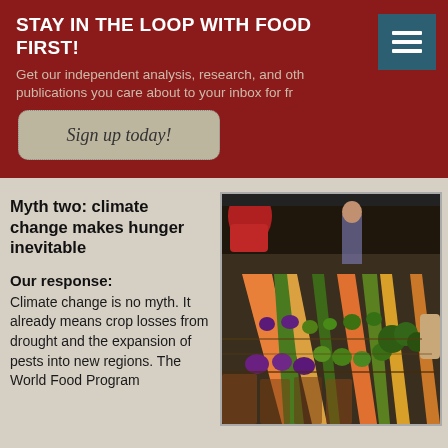STAY IN THE LOOP WITH FOOD FIRST!
Get our independent analysis, research, and other publications you care about to your inbox for free.
Sign up today!
Myth two: climate change makes hunger inevitable
Our response: Climate change is no myth. It already means crop losses from drought and the expansion of pests into new regions. The World Food Program forecasts the number of food-insecure children rises...
[Figure (photo): A colorful outdoor market stall displaying rows of fresh vegetables including carrots, broccoli, limes, and other produce arranged in baskets and crates.]